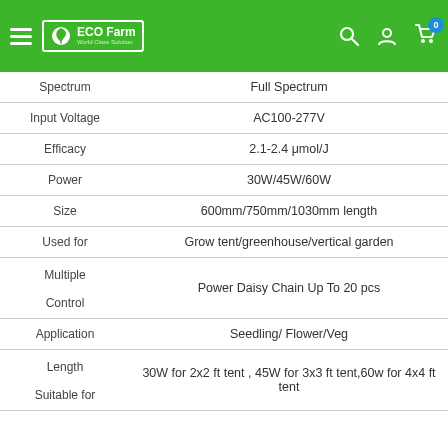ECO Farm — Navigation bar with logo, search, account, and cart icons
| Attribute | Value |
| --- | --- |
| Spectrum | Full Spectrum |
| Input Voltage | AC100-277V |
| Efficacy | 2.1-2.4 μmol/J |
| Power | 30W/45W/60W |
| Size | 600mm/750mm/1030mm length |
| Used for | Grow tent/greenhouse/vertical garden |
| Multiple Control | Power Daisy Chain Up To 20 pcs |
| Application | Seedling/ Flower/Veg |
| Length Suitable for | 30W for 2x2 ft tent , 45W for 3x3 ft tent,60w for 4x4 ft tent |